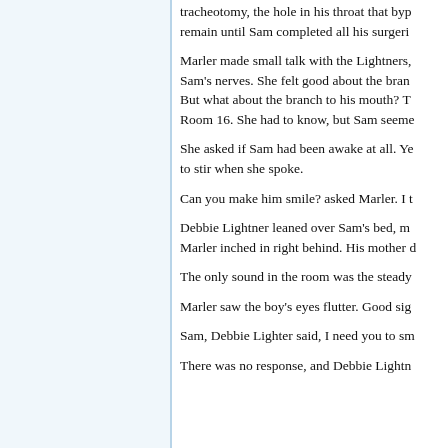tracheotomy, the hole in his throat that byp... remain until Sam completed all his surgeri...
Marler made small talk with the Lightners, ... Sam's nerves. She felt good about the bran... But what about the branch to his mouth? T... Room 16. She had to know, but Sam seeme...
She asked if Sam had been awake at all. Ye... to stir when she spoke.
Can you make him smile? asked Marler. I t...
Debbie Lightner leaned over Sam's bed, m... Marler inched in right behind. His mother d...
The only sound in the room was the steady...
Marler saw the boy's eyes flutter. Good sig...
Sam, Debbie Lighter said, I need you to sm...
There was no response, and Debbie Lightn...